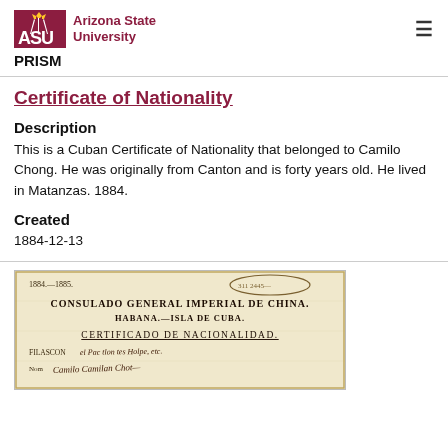ASU Arizona State University PRISM
Certificate of Nationality
Description
This is a Cuban Certificate of Nationality that belonged to Camilo Chong. He was originally from Canton and is forty years old. He lived in Matanzas. 1884.
Created
1884-12-13
[Figure (photo): Scanned historical document showing '1884.-1885.' header, with text 'CONSULADO GENERAL IMPERIAL DE CHINA. HABANA.-ISLA DE CUBA. CERTIFICADO DE NACIONALIDAD.' and handwritten entries for FILASCON field.]